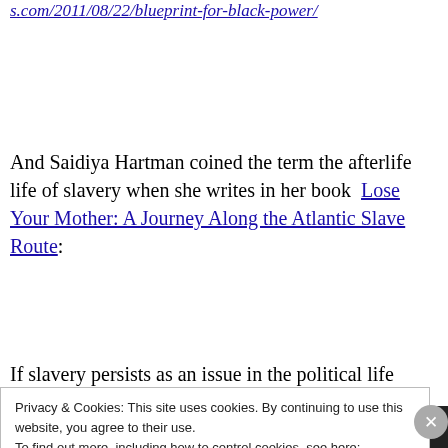s.com/2011/08/22/blueprint-for-black-power/
And Saidiya Hartman coined the term the afterlife life of slavery when she writes in her book  Lose Your Mother: A Journey Along the Atlantic Slave Route:
If slavery persists as an issue in the political life
Privacy & Cookies: This site uses cookies. By continuing to use this website, you agree to their use.
To find out more, including how to control cookies, see here: Cookie Policy
Close and accept
All in One Free App    DuckDuckGo